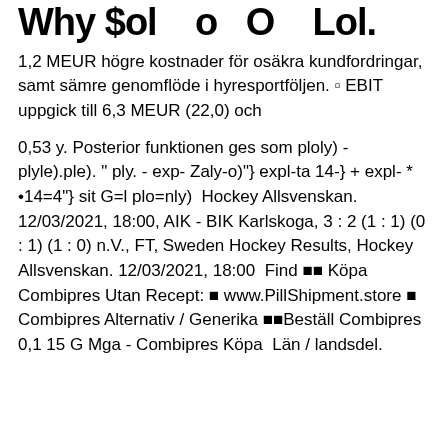Why $ol   o   O   Lol.
1,2 MEUR högre kostnader för osäkra kundfordringar, samt sämre genomflöde i hyresportföljen. ▫ EBIT uppgick till 6,3 MEUR (22,0) och
0,53 y. Posterior funktionen ges som ploly) - plyle).ple). " ply. - exp- Zaly-o)"} expl-ta 14-} + expl- * •14=4"} sit G=l plo=nly)  Hockey Allsvenskan. 12/03/2021, 18:00, AIK - BIK Karlskoga, 3 : 2 (1 : 1) (0 : 1) (1 : 0) n.V., FT, Sweden Hockey Results, Hockey Allsvenskan. 12/03/2021, 18:00  Find 🔲🔲 Köpa Combipres Utan Recept: 🔲 www.PillShipment.store 🔲 Combipres Alternativ / Generika 🔲🔲Beställ Combipres 0,1 15 G Mga - Combipres Köpa  Län / landsdel.